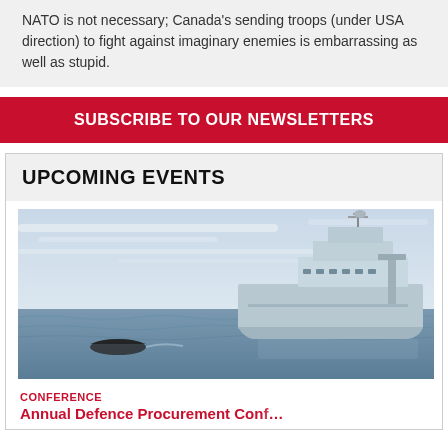NATO is not necessary; Canada's sending troops (under USA direction) to fight against imaginary enemies is embarrassing as well as stupid.
SUBSCRIBE TO OUR NEWSLETTERS
UPCOMING EVENTS
[Figure (photo): A large grey military/coast guard ship at sea with a smaller vessel in the foreground on choppy water under a cloudy sky.]
CONFERENCE
Annual Defence Procurement Conference